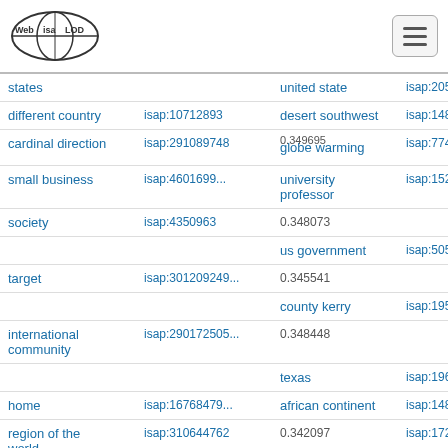Web isa LOD [logo] [hamburger menu]
| term | isap id | term | isap id |
| --- | --- | --- | --- |
| states |  | united state | isap:2052861... |
| different country | isap:10712893 | desert southwest | isap:1484573... |
| cardinal direction | isap:291089748 | globe warming | isap:7748791... |
| small business | isap:4601699... | university professor | isap:1521555... |
| society | isap:4350963 | 0.348073 |  |
|  |  | us government | isap:5058986... |
| target | isap:301209249... | 0.345541 |  |
|  |  | county kerry | isap:1951043... |
| international community | isap:290172505... | 0.348448 |  |
|  |  | texas | isap:1964571... |
| home | isap:16768479... | african continent | isap:1489534... |
| region of the world | isap:310644762 | ne 0.342097 | isap:1724491... |
|  |  | portland | isap:3802141... |
| event | isap:93767672 | 0.341208 |  |
|  |  | seattle | isap:7868821... |